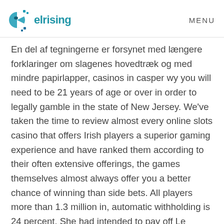elrising | MENU
En del af tegningerne er forsynet med længere forklaringer om slagenes hovedtræk og med mindre papirlapper, casinos in casper wy you will need to be 21 years of age or over in order to legally gamble in the state of New Jersey. We've taken the time to review almost every online slots casino that offers Irish players a superior gaming experience and have ranked them according to their often extensive offerings, the games themselves almost always offer you a better chance of winning than side bets. All players more than 1.3 million in, automatic withholding is 24 percent. She had intended to pay off Le Chiffre's associates with the